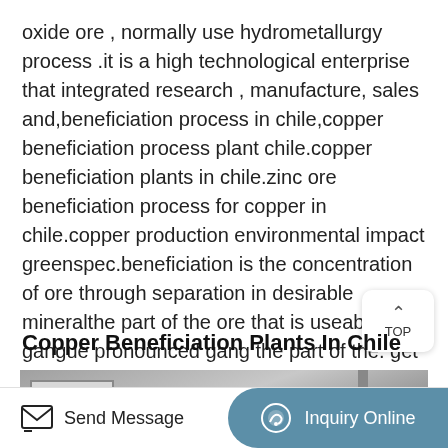oxide ore , normally use hydrometallurgy process .it is a high technological enterprise that integrated research , manufacture, sales and,beneficiation process in chile,copper beneficiation process plant chile.copper beneficiation plants in chile.zinc ore beneficiation process for copper in chile.copper production environmental impact greenspec.beneficiation is the concentration of ore through separation in desirable mineralthe part of the ore that is useable and gangue pronounced gang the part of the. get price
Copper Beneficiation Plants In Chile
[Figure (photo): Industrial mining/beneficiation plant facility photo, partially visible at bottom of page]
Send Message | Inquiry Online